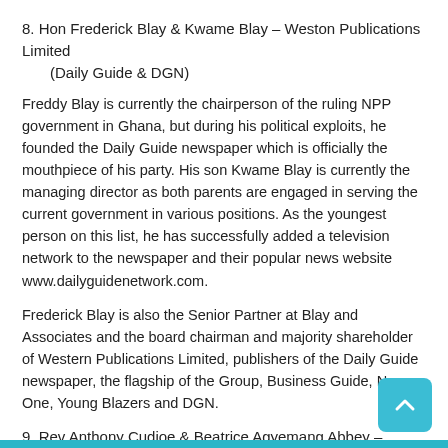8. Hon Frederick Blay & Kwame Blay – Weston Publications Limited (Daily Guide & DGN)
Freddy Blay is currently the chairperson of the ruling NPP government in Ghana, but during his political exploits, he founded the Daily Guide newspaper which is officially the mouthpiece of his party. His son Kwame Blay is currently the managing director as both parents are engaged in serving the current government in various positions. As the youngest person on this list, he has successfully added a television network to the newspaper and their popular news website www.dailyguidenetwork.com.
Frederick Blay is also the Senior Partner at Blay and Associates and the board chairman and majority shareholder of Western Publications Limited, publishers of the Daily Guide newspaper, the flagship of the Group, Business Guide, News-One, Young Blazers and DGN.
9. Rev Anthony Cudjoe & Beatrice Agyemang Abbey – Media General